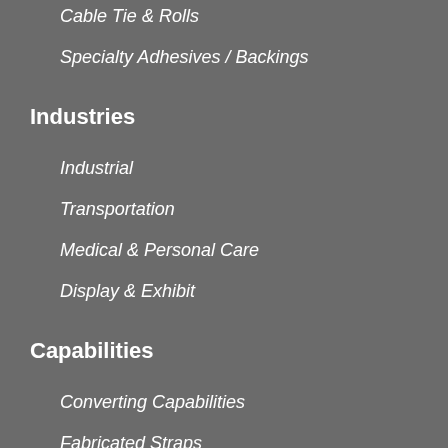Cable Tie & Rolls
Specialty Adhesives / Backings
Industries
Industrial
Transportation
Medical & Personal Care
Display & Exhibit
Capabilities
Converting Capabilities
Fabricated Straps
Engineering Drawings & Prototypes
Packaging & Inventory Services